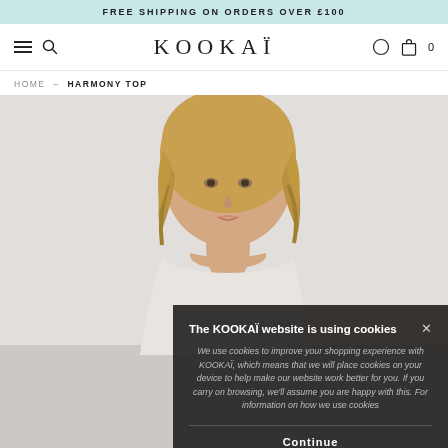FREE SHIPPING ON ORDERS OVER £100
[Figure (screenshot): KOOKAÏ website navigation bar with hamburger menu, search icon, KOOKAÏ logo, wishlist icon, and shopping bag with 0 items]
HOME → HARMONY TOP
[Figure (photo): Fashion model with blonde hair wearing a light-colored top against a grey background]
The KOOKAÏ website is using cookies
We use cookies to improve your shopping experience with KOOKAÏ, which means that we will place cookies on your device to help make our website work better for you. If you carry on browsing, we'll assume you are happy with this. For information on how we use cookies
Continue